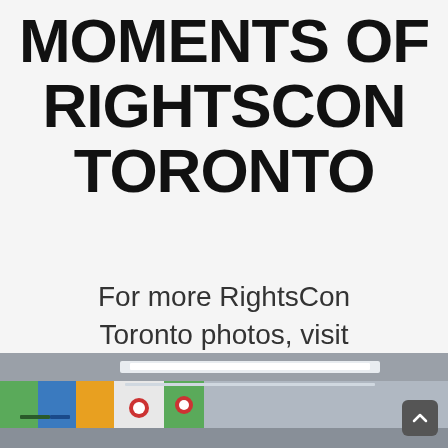MOMENTS OF RIGHTSCON TORONTO
For more RightsCon Toronto photos, visit our Flickr Album.
[Figure (photo): Partial view of a conference venue interior showing colorful RightsCon branded panels/banners on a wall, ceiling lights, and hallway. A scroll-to-top button (dark rounded rectangle with upward chevron) is visible in the bottom right corner.]